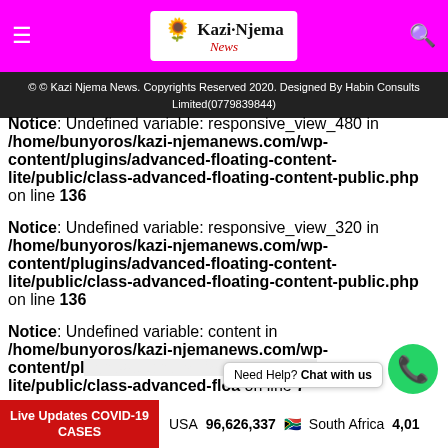Kazi Njema News
© © Kazi Njema News. Copyrights Reserved 2020. Designed By Habin Consults Limited(0779839844)
Notice: Undefined variable: responsive_view_480 in /home/bunyoros/kazi-njemanews.com/wp-content/plugins/advanced-floating-content-lite/public/class-advanced-floating-content-public.php on line 136
Notice: Undefined variable: responsive_view_320 in /home/bunyoros/kazi-njemanews.com/wp-content/plugins/advanced-floating-content-lite/public/class-advanced-floating-content-public.php on line 136
Notice: Undefined variable: content in /home/bunyoros/kazi-njemanews.com/wp-content/plugins/advanced-floating-content-lite/public/class-advanced-floa on line 7
Live Updates COVID-19 CASES   USA 96,626,337   South Africa 4,01